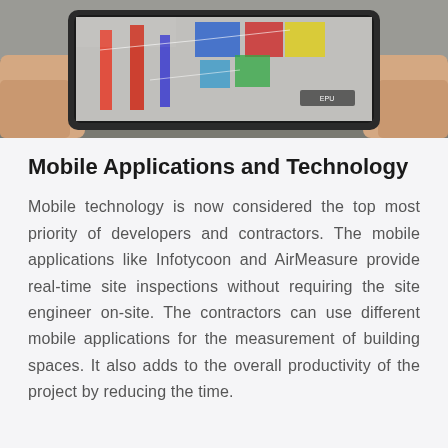[Figure (photo): Hands holding a tablet/device showing an augmented reality or construction site inspection app with colorful overlays on a factory/industrial environment]
Mobile Applications and Technology
Mobile technology is now considered the top most priority of developers and contractors. The mobile applications like Infotycoon and AirMeasure provide real-time site inspections without requiring the site engineer on-site. The contractors can use different mobile applications for the measurement of building spaces. It also adds to the overall productivity of the project by reducing the time.